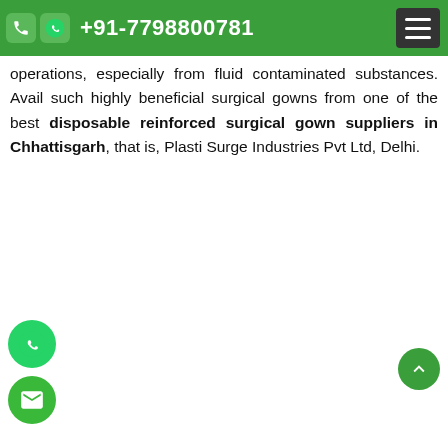+91-7798800781
operations, especially from fluid contaminated substances. Avail such highly beneficial surgical gowns from one of the best disposable reinforced surgical gown suppliers in Chhattisgarh, that is, Plasti Surge Industries Pvt Ltd, Delhi.
[Figure (screenshot): YouTube video embed showing 'Corporate Video of Plasti Surge I...' with a thumbnail of workers in blue surgical gowns working at a table, with a red YouTube play button overlay and text 'Central India's largest capacity' at the bottom.]